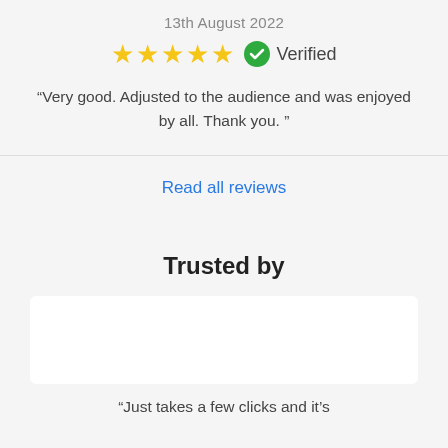13th August 2022
[Figure (other): Five gold stars rating and a green verified badge with checkmark and 'Verified' label]
“Very good. Adjusted to the audience and was enjoyed by all. Thank you. ”
Read all reviews
Trusted by
“Just takes a few clicks and it’s